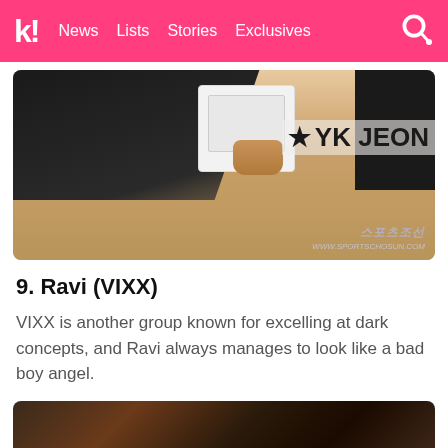K! News Lists Stories Exclusives
[Figure (photo): Photo of a person in a black dress holding a white handbag at what appears to be a YK JEON event, watermark: www.sportschosun.com]
9. Ravi (VIXX)
VIXX is another group known for excelling at dark concepts, and Ravi always manages to look like a bad boy angel.
[Figure (photo): Close-up photo of dark and brown hair, partially blurred]